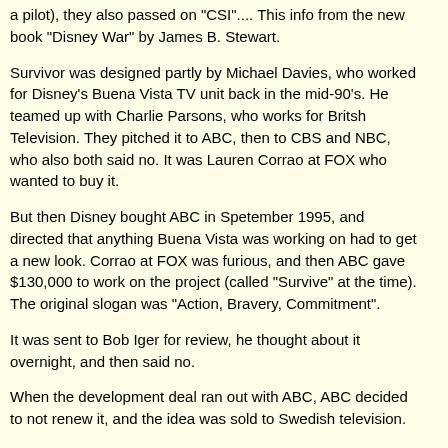a pilot), they also passed on "CSI".... This info from the new book "Disney War" by James B. Stewart.
Survivor was designed partly by Michael Davies, who worked for Disney's Buena Vista TV unit back in the mid-90's. He teamed up with Charlie Parsons, who works for Britsh Television. They pitched it to ABC, then to CBS and NBC, who also both said no. It was Lauren Corrao at FOX who wanted to buy it.
But then Disney bought ABC in Spetember 1995, and directed that anything Buena Vista was working on had to get a new look. Corrao at FOX was furious, and then ABC gave $130,000 to work on the project (called "Survive" at the time). The original slogan was "Action, Bravery, Commitment".
It was sent to Bob Iger for review, he thought about it overnight, and then said no.
When the development deal ran out with ABC, ABC decided to not renew it, and the idea was sold to Swedish television.
ABC again had the chance to get Survivor after the Swedish version aired, in a meeting that Michael Davies attended, run by Michael Eisner, he was called upon, and felt he had the chance to make one big push, but had two big ideas, Survivor and Millionaire. He chose to push Millionaire, and once again Survivor was passed on.
When Survivor first aired on CBS, it was called the original...